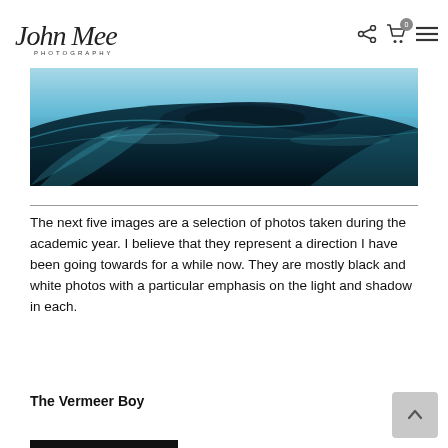[Figure (logo): John Mee Photography handwritten script logo with PHOTOGRAPHY in small caps beneath]
[Figure (photo): Panoramic aerial ocean photograph showing dark blue water with wave patterns and a dark landmass or sand bank, lit with teal/blue tones]
The next five images are a selection of photos taken during the academic year. I believe that they represent a direction I have been going towards for a while now. They are mostly black and white photos with a particular emphasis on the light and shadow in each.
The Vermeer Boy